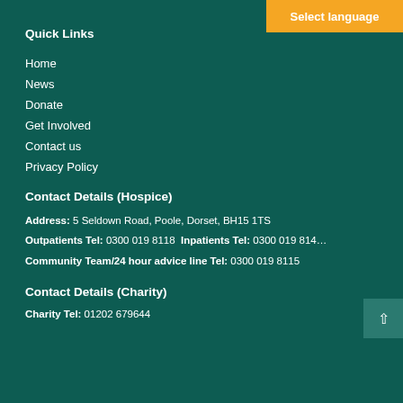[Figure (other): Orange 'Select language' button in top-right corner]
Quick Links
Home
News
Donate
Get Involved
Contact us
Privacy Policy
Contact Details (Hospice)
Address: 5 Seldown Road, Poole, Dorset, BH15 1TS
Outpatients Tel: 0300 019 8118  Inpatients Tel: 0300 019 8114
Community Team/24 hour advice line Tel: 0300 019 8115
Contact Details (Charity)
Charity Tel: 01202 679644